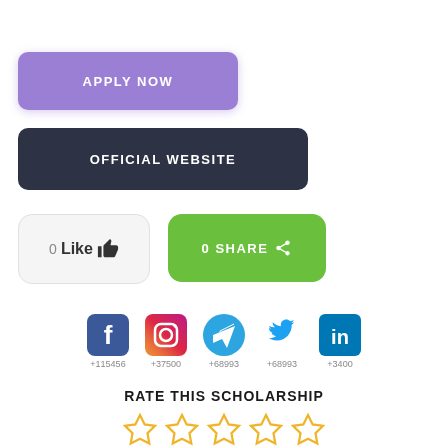[Figure (screenshot): Purple 'APPLY NOW' button]
[Figure (screenshot): Dark navy 'OFFICIAL WEBSITE' button]
[Figure (screenshot): White 'Like' button with thumbs up icon showing count 0]
[Figure (screenshot): Green '0 SHARE' button with share icon]
[Figure (infographic): Social media icons row: Facebook +115456, Instagram +37500, Telegram +68993, Twitter +68993, LinkedIn +3400]
RATE THIS SCHOLARSHIP
[Figure (illustration): Five empty star rating icons in orange/yellow outline]